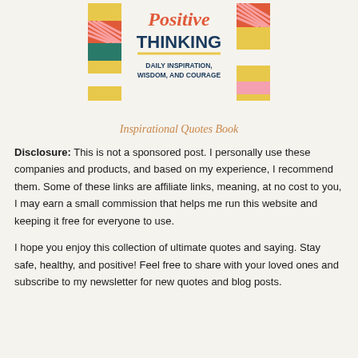[Figure (illustration): Book cover for 'Positive Thinking: Daily Inspiration, Wisdom, and Courage' with colorful geometric design]
Inspirational Quotes Book
Disclosure: This is not a sponsored post. I personally use these companies and products, and based on my experience, I recommend them. Some of these links are affiliate links, meaning, at no cost to you, I may earn a small commission that helps me run this website and keeping it free for everyone to use.
I hope you enjoy this collection of ultimate quotes and saying. Stay safe, healthy, and positive! Feel free to share with your loved ones and subscribe to my newsletter for new quotes and blog posts.